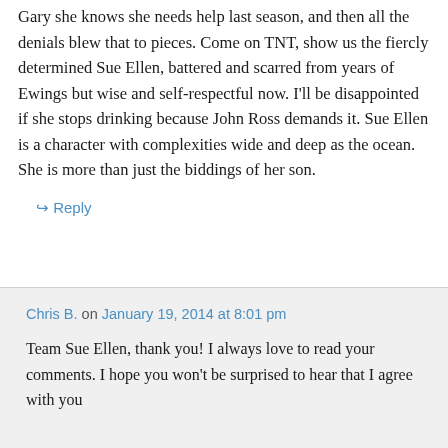Gary she knows she needs help last season, and then all the denials blew that to pieces. Come on TNT, show us the fiercly determined Sue Ellen, battered and scarred from years of Ewings but wise and self-respectful now. I'll be disappointed if she stops drinking because John Ross demands it. Sue Ellen is a character with complexities wide and deep as the ocean. She is more than just the biddings of her son.
↳ Reply
Chris B. on January 19, 2014 at 8:01 pm
Team Sue Ellen, thank you! I always love to read your comments. I hope you won't be surprised to hear that I agree with you